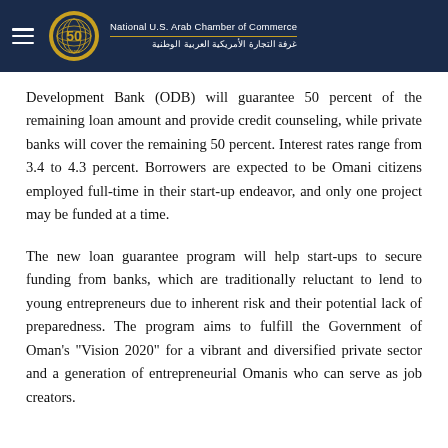National U.S. Arab Chamber of Commerce / غرفة التجارة الأمريكية العربية الوطنية
Development Bank (ODB) will guarantee 50 percent of the remaining loan amount and provide credit counseling, while private banks will cover the remaining 50 percent. Interest rates range from 3.4 to 4.3 percent. Borrowers are expected to be Omani citizens employed full-time in their start-up endeavor, and only one project may be funded at a time.
The new loan guarantee program will help start-ups to secure funding from banks, which are traditionally reluctant to lend to young entrepreneurs due to inherent risk and their potential lack of preparedness. The program aims to fulfill the Government of Oman's "Vision 2020" for a vibrant and diversified private sector and a generation of entrepreneurial Omanis who can serve as job creators.